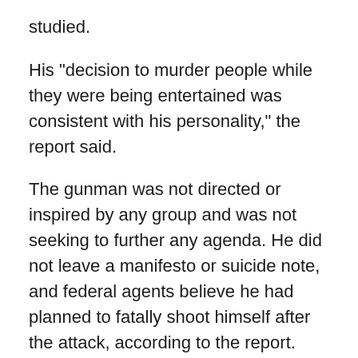studied.
His "decision to murder people while they were being entertained was consistent with his personality," the report said.
The gunman was not directed or inspired by any group and was not seeking to further any agenda. He did not leave a manifesto or suicide note, and federal agents believe he had planned to fatally shoot himself after the attack, according to the report.
Paddock was a retired postal service worker, accountant and real estate investor who owned rental properties and homes in Reno and in a retirement community more than an hour's drive from Las Vegas. He also held a private pilot's license and liked to